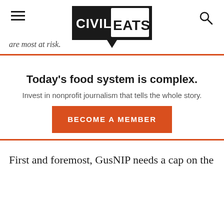Civil Eats — are most at risk.
Today's food system is complex.
Invest in nonprofit journalism that tells the whole story.
BECOME A MEMBER
First and foremost, GusNIP needs a cap on the